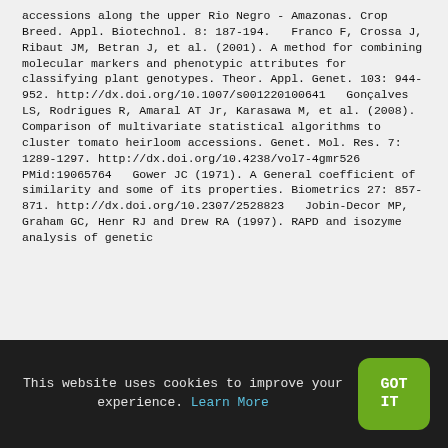accessions along the upper Rio Negro - Amazonas. Crop Breed. Appl. Biotechnol. 8: 187-194.   Franco F, Crossa J, Ribaut JM, Betran J, et al. (2001). A method for combining molecular markers and phenotypic attributes for classifying plant genotypes. Theor. Appl. Genet. 103: 944-952. http://dx.doi.org/10.1007/s001220100641   Gonçalves LS, Rodrigues R, Amaral AT Jr, Karasawa M, et al. (2008). Comparison of multivariate statistical algorithms to cluster tomato heirloom accessions. Genet. Mol. Res. 7: 1289-1297. http://dx.doi.org/10.4238/vol7-4gmr526 PMid:19065764   Gower JC (1971). A General coefficient of similarity and some of its properties. Biometrics 27: 857-871. http://dx.doi.org/10.2307/2528823   Jobin-Decor MP, Graham GC, Henr RJ and Drew RA (1997). RAPD and isozyme analysis of genetic
This website uses cookies to improve your experience. Learn More